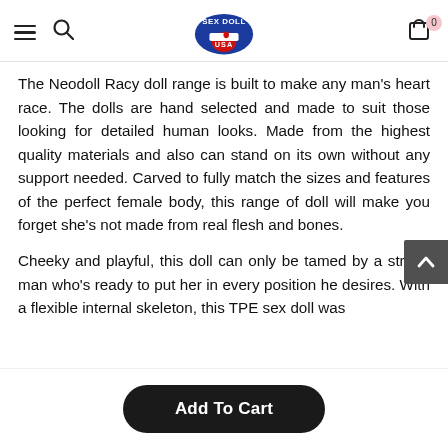Sex Doll USA (logo with navigation icons)
The Neodoll Racy doll range is built to make any man's heart race. The dolls are hand selected and made to suit those looking for detailed human looks. Made from the highest quality materials and also can stand on its own without any support needed. Carved to fully match the sizes and features of the perfect female body, this range of doll will make you forget she's not made from real flesh and bones.
Cheeky and playful, this doll can only be tamed by a strong man who's ready to put her in every position he desires. With a flexible internal skeleton, this TPE sex doll was